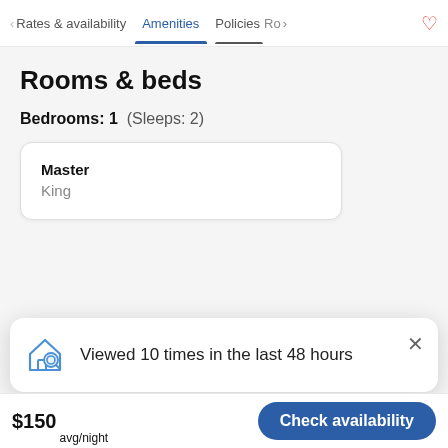< Rates & availability   Amenities   Policies   Ro>  ♡
Rooms & beds
Bedrooms: 1  (Sleeps: 2)
Master
King
Viewed 10 times in the last 48 hours
$150 avg/night   Check availability